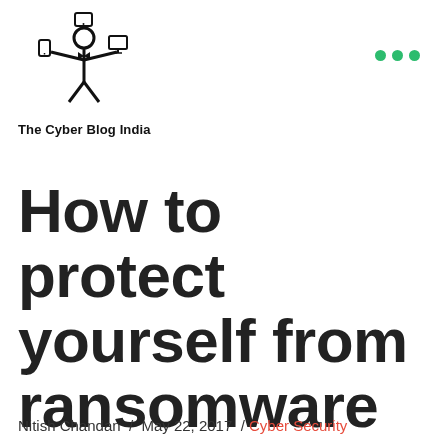[Figure (logo): The Cyber Blog India logo — a figure in a suit juggling devices (phone, tablet, laptop) above their head, with text 'The Cyber Blog India' below]
How to protect yourself from ransomware data loss?
Nitish Chandan / May 22, 2017 / Cyber Security